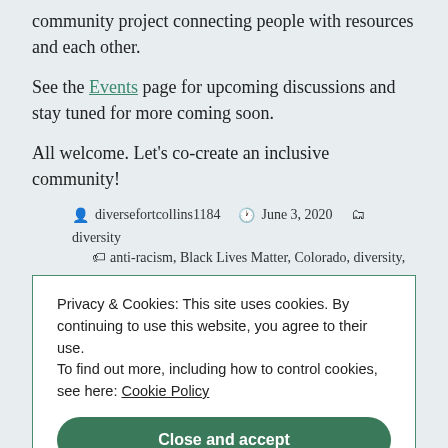community project connecting people with resources and each other.
See the Events page for upcoming discussions and stay tuned for more coming soon.
All welcome. Let's co-create an inclusive community!
diversefortcollins1184   June 3, 2020   diversity
anti-racism, Black Lives Matter, Colorado, diversity,
Privacy & Cookies: This site uses cookies. By continuing to use this website, you agree to their use. To find out more, including how to control cookies, see here: Cookie Policy
Close and accept
Community Voices: Judge